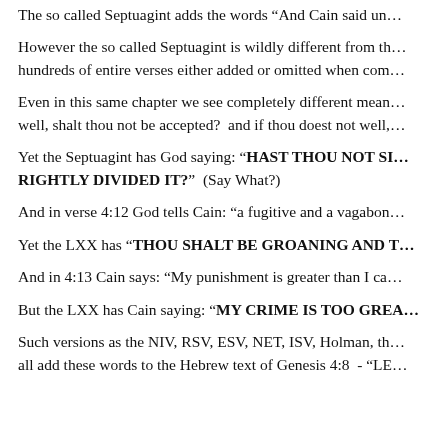The so called Septuagint adds the words “And Cain said un…
However the so called Septuagint is wildly different from th… hundreds of entire verses either added or omitted when com…
Even in this same chapter we see completely different mean… well, shalt thou not be accepted? and if thou doest not well,…
Yet the Septuagint has God saying: “HAST THOU NOT SI… RIGHTLY DIVIDED IT?” (Say What?)
And in verse 4:12 God tells Cain: “a fugitive and a vagabon…
Yet the LXX has “THOU SHALT BE GROANING AND T…
And in 4:13 Cain says: “My punishment is greater than I ca…
But the LXX has Cain saying: “MY CRIME IS TOO GREA…
Such versions as the NIV, RSV, ESV, NET, ISV, Holman, th… all add these words to the Hebrew text of Genesis 4:8 - “LE…